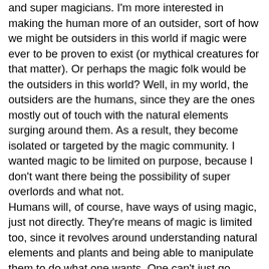and super magicians. I'm more interested in making the human more of an outsider, sort of how we might be outsiders in this world if magic were ever to be proven to exist (or mythical creatures for that matter). Or perhaps the magic folk would be the outsiders in this world? Well, in my world, the outsiders are the humans, since they are the ones mostly out of touch with the natural elements surging around them. As a result, they become isolated or targeted by the magic community. I wanted magic to be limited on purpose, because I don't want there being the possibility of super overlords and what not.
Humans will, of course, have ways of using magic, just not directly. They're means of magic is limited too, since it revolves around understanding natural elements and plants and being able to manipulate them to do what one wants. One can't just go "abracadabra" and make a magic healing plant. It takes time and dedication to find the right formula. Cacticles may have immense power, but that power is uncontrollable. One would have to have tremendous luck to use it for evil means and not explode or die in some other horrible manner.
I think that's more than enough on magic for the time being!